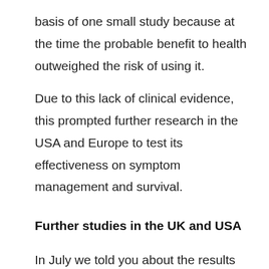basis of one small study because at the time the probable benefit to health outweighed the risk of using it.
Due to this lack of clinical evidence, this prompted further research in the USA and Europe to test its effectiveness on symptom management and survival.
Further studies in the UK and USA
In July we told you about the results from the UK’s first clinical trial of diaphragm pacing. In the UK study of diaphragm pacing in amyotrophic lateral sclerosis (ALS), called DiPALS, the results were significantly different to previous pre-approval studies of the treatment. The trial showed that people who were on diaphragm pacing